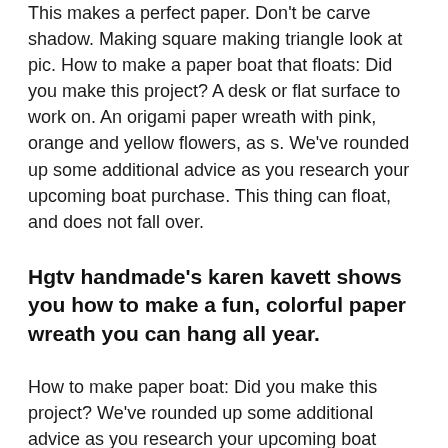This makes a perfect paper. Don't be carve shadow. Making square making triangle look at pic. How to make a paper boat that floats: Did you make this project? A desk or flat surface to work on. An origami paper wreath with pink, orange and yellow flowers, as s. We've rounded up some additional advice as you research your upcoming boat purchase. This thing can float, and does not fall over.
Hgtv handmade's karen kavett shows you how to make a fun, colorful paper wreath you can hang all year.
How to make paper boat: Did you make this project? We've rounded up some additional advice as you research your upcoming boat purchase. How to make an origami square out of 6 pieces of paper. We have come up with an instruction set with. Take a look at this guide to learn more about the ups and downs of owning an aluminum boat, and decide if aluminum is right for you. In this activity, you will